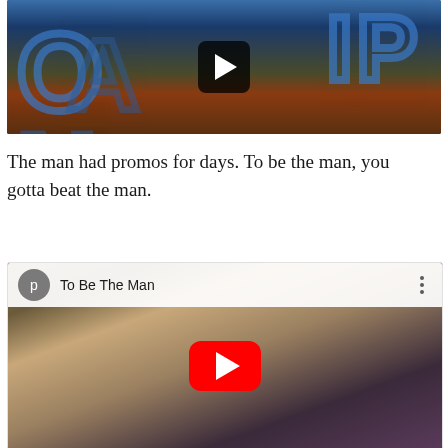[Figure (screenshot): Video thumbnail showing a person with blonde hair and orange outfit against a blue background with a dark play button overlay]
The man had promos for days. To be the man, you gotta beat the man.
[Figure (screenshot): YouTube video thumbnail titled 'To Be The Man' showing a person with blonde hair in a sparkly blue jacket, with a red YouTube play button overlay and a gray avatar circle with letter 'p']